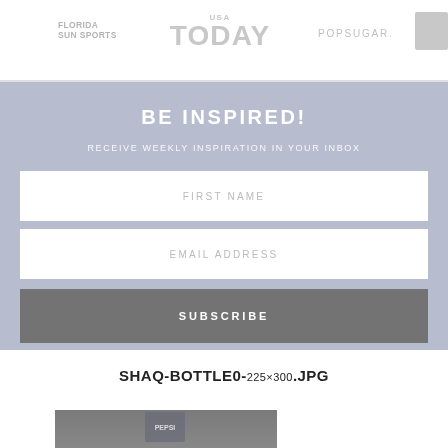[Figure (logo): Florida Sun Sports logo (gray text)]
[Figure (logo): USA TODAY logo (gray text, large)]
[Figure (logo): POPSUGAR. logo (gray text)]
[Figure (logo): Gray square logo/icon]
BE INSPIRED!
RECEIVE WEEKLY INSPIRATION IN YOUR INBOX
FIRST NAME
EMAIL ADDRESS
SUBSCRIBE
SHAQ-BOTTLE0-225×300.JPG
[Figure (photo): Partial photo of a Pepsi bottle]